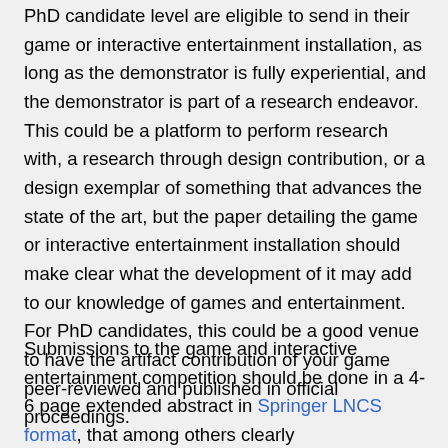PhD candidate level are eligible to send in their game or interactive entertainment installation, as long as the demonstrator is fully experiential, and the demonstrator is part of a research endeavor. This could be a platform to perform research with, a research through design contribution, or a design exemplar of something that advances the state of the art, but the paper detailing the game or interactive entertainment installation should make clear what the development of it may add to our knowledge of games and entertainment. For PhD candidates, this could be a good venue to have the artifact contribution of your game peer-reviewed and published in official proceedings.
Submissions to the game and interactive entertainment competition should be done in a 4-6 page extended abstract in Springer LNCS format, that among others clearly